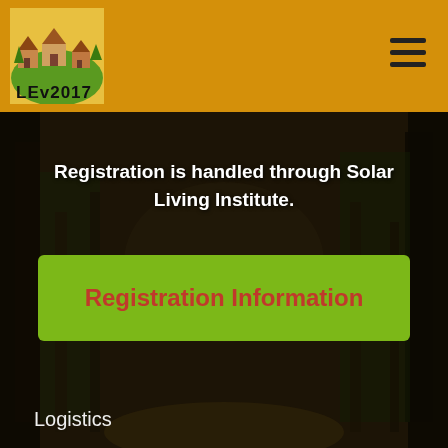[Figure (logo): LEv2017 logo with illustrated village buildings on yellow background]
Registration is handled through Solar Living Institute.
Registration Information
Logistics